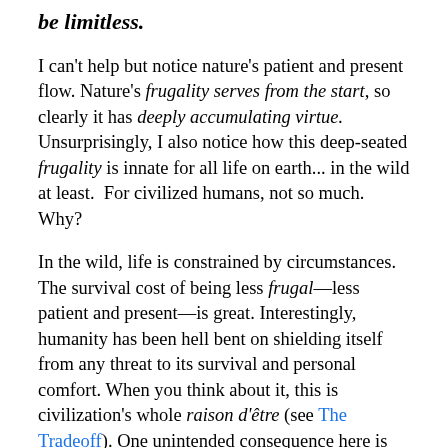be limitless.
I can't help but notice nature's patient and present flow. Nature's frugality serves from the start, so clearly it has deeply accumulating virtue. Unsurprisingly, I also notice how this deep-seated frugality is innate for all life on earth... in the wild at least.  For civilized humans, not so much. Why?
In the wild, life is constrained by circumstances. The survival cost of being less frugal—less patient and present—is great. Interestingly, humanity has been hell bent on shielding itself from any threat to its survival and personal comfort. When you think about it, this is civilization's whole raison d'être (see The Tradeoff). One unintended consequence here is